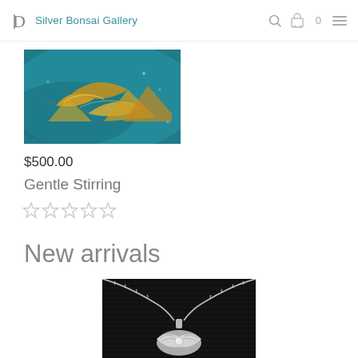Silver Bonsai Gallery
[Figure (photo): Painting of fish underwater with golden and teal tones]
$500.00
Gentle Stirring
[Figure (other): Five empty star rating icons]
New arrivals
[Figure (photo): Silver necklace with chain and pendant on black background]